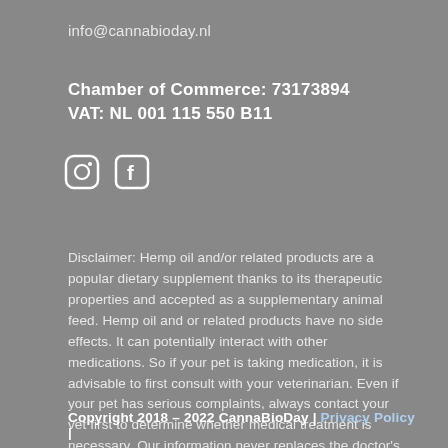info@cannabioday.nl
Chamber of Commerce: 73173894
VAT: NL 001 115 550 B11
[Figure (logo): Instagram and Facebook social media icons (circle outlines with camera and f symbols)]
Disclaimer: Hemp oil and/or related products are a popular dietary supplement thanks to its therapeutic properties and accepted as a supplementary animal feed. Hemp oil and or related products have no side effects. It can potentially interact with other medications. So if your pet is taking medication, it is advisable to first consult with your veterinarian. Even if your pet has serious complaints, always contact your vet first to determine whether medical treatment is necessary. Our information never replaces the doctor's advice.
Copyright 2018 – 2022 CannaBioDay | Privacy Policy |